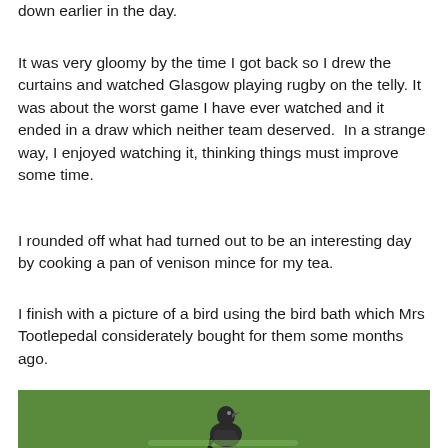down earlier in the day.
It was very gloomy by the time I got back so I drew the curtains and watched Glasgow playing rugby on the telly. It was about the worst game I have ever watched and it ended in a draw which neither team deserved.  In a strange way, I enjoyed watching it, thinking things must improve some time.
I rounded off what had turned out to be an interesting day by cooking a pan of venison mince for my tea.
I finish with a picture of a bird using the bird bath which Mrs Tootlepedal considerately bought for them some months ago.
[Figure (photo): A bird using a bird bath, photographed against a green background. The bird appears dark-coloured, partially visible at the bottom of the image.]